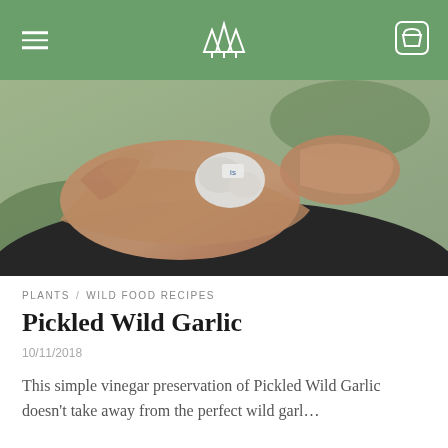Navigation header with hamburger menu, tree logo, and cart icon
[Figure (photo): Close-up photo of two hands holding wild garlic bulbs, with a small white label visible]
PLANTS   WILD FOOD RECIPES
Pickled Wild Garlic
10/11/2018
This simple vinegar preservation of Pickled Wild Garlic doesn't take away from the perfect wild garl…